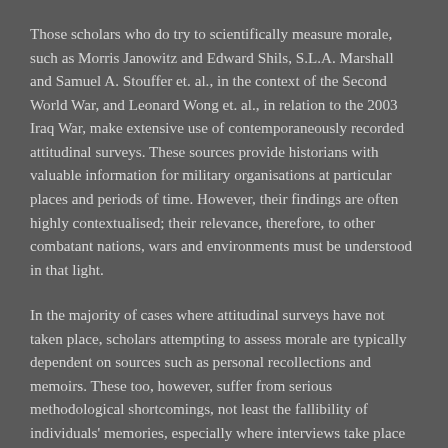Those scholars who do try to scientifically measure morale, such as Morris Janowitz and Edward Shils, S.L.A. Marshall and Samuel A. Stouffer et. al., in the context of the Second World War, and Leonard Wong et. al., in relation to the 2003 Iraq War, make extensive use of contemporaneously recorded attitudinal surveys. These sources provide historians with valuable information for military organisations at particular places and periods of time. However, their findings are often highly contextualised; their relevance, therefore, to other combatant nations, wars and environments must be understood in that light.
In the majority of cases where attitudinal surveys have not taken place, scholars attempting to assess morale are typically dependent on sources such as personal recollections and memoirs. These too, however, suffer from serious methodological shortcomings, not least the fallibility of individuals' memories, especially where interviews take place decades after the event, and the